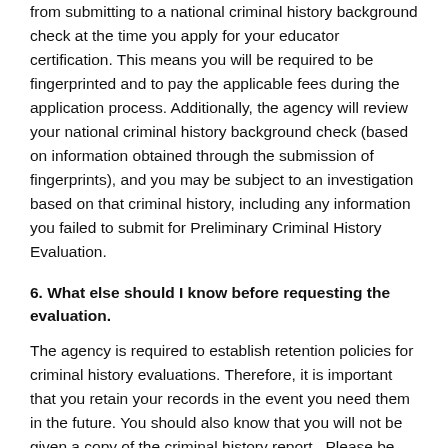from submitting to a national criminal history background check at the time you apply for your educator certification. This means you will be required to be fingerprinted and to pay the applicable fees during the application process. Additionally, the agency will review your national criminal history background check (based on information obtained through the submission of fingerprints), and you may be subject to an investigation based on that criminal history, including any information you failed to submit for Preliminary Criminal History Evaluation.
6. What else should I know before requesting the evaluation.
The agency is required to establish retention policies for criminal history evaluations. Therefore, it is important that you retain your records in the event you need them in the future. You should also know that you will not be given a copy of the criminal history report.  Please be aware that